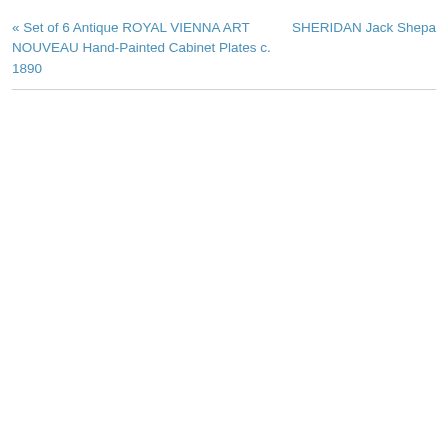« Set of 6 Antique ROYAL VIENNA ART NOUVEAU Hand-Painted Cabinet Plates c. 1890
SHERIDAN Jack Shepard W